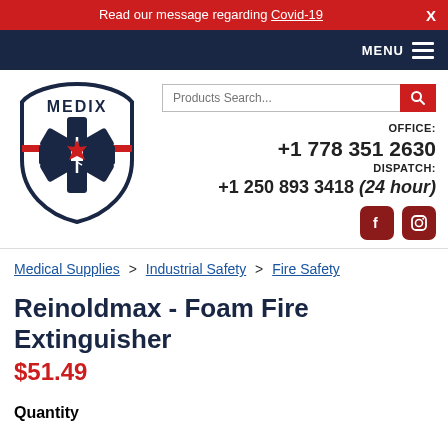Read our message regarding Covid-19  X
MENU
[Figure (logo): Medix logo — shield shape with Star of Life, maple leaf, and MEDIX text]
Products Search...
OFFICE: +1 778 351 2630 DISPATCH: +1 250 893 3418 (24 hour)
[Figure (other): Facebook and Instagram social media icons]
Medical Supplies > Industrial Safety > Fire Safety
Reinoldmax - Foam Fire Extinguisher
$51.49
Quantity